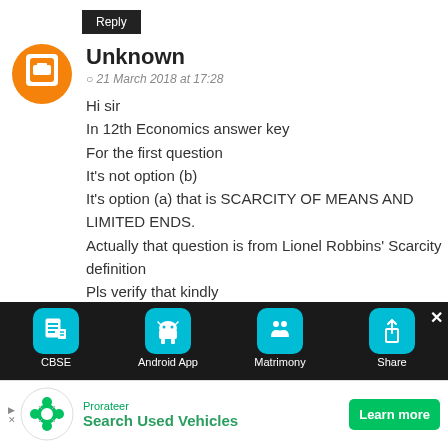Reply
Unknown
21 March 2018 at 17:28
Hi sir
In 12th Economics answer key
For the first question
It's not option (b)
It's option (a) that is SCARCITY OF MEANS AND LIMITED ENDS.
Actually that question is from Lionel Robbins' Scarcity definition
Pls verify that kindly
Reply
here the result of your searching information
[Figure (infographic): Bottom app bar with four icons: CBSE (book icon), Android App (Android logo), Matrimony (couple icon), Share (upload icon), with a close X button]
[Figure (infographic): Advertisement banner for Prorateer showing 'Search Used Vehicles' with a green Learn more button]